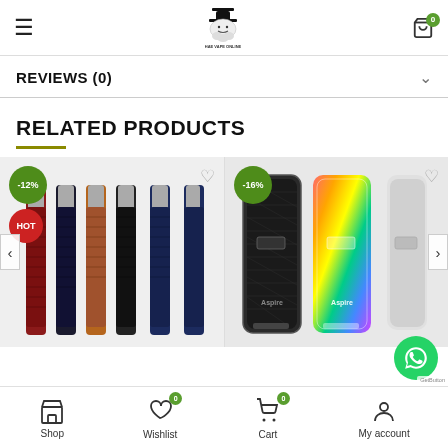HAE VAPE ONLINE – navigation header with hamburger menu, logo, and cart icon (0 items)
REVIEWS (0)
RELATED PRODUCTS
[Figure (photo): Two product carousel cards showing vape pen kits with -12% HOT badge on the left and Aspire pod devices with -16% badge on the right; navigation arrows on both sides]
Shop | Wishlist (0) | Cart (0) | My account